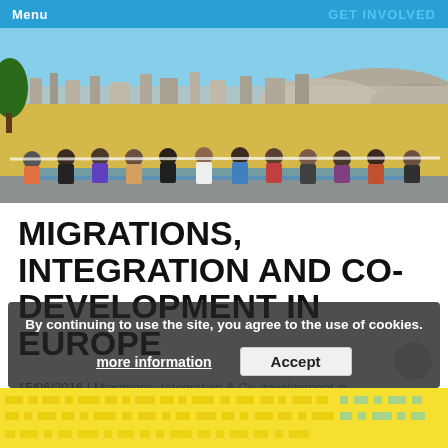Menu | GET INVOLVED
[Figure (photo): Group of people sitting in a row against a yellow wall on a rooftop, all wearing blindfolds/headbands, with a cityscape and mountains visible in the background.]
MIGRATIONS, INTEGRATION AND CO-DEVELOPMENT IN EUROPE
15/06/2016 | Migrations, Integration & Co-development in Europe
By continuing to use the site, you agree to the use of cookies.
more information   Accept